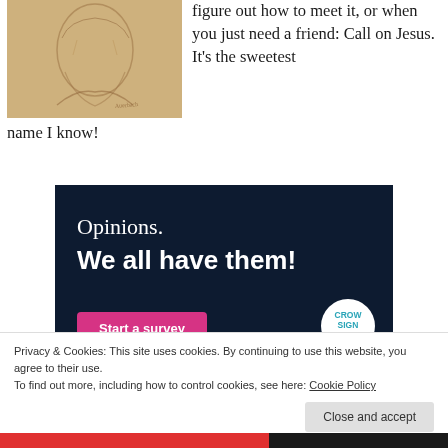[Figure (illustration): A sepia-toned sketch/drawing of an elderly bearded man's face and upper body, appearing to be a Renaissance-style portrait drawing.]
figure out how to meet it, or when you just need a friend: Call on Jesus.  It’s the sweetest name I know!
[Figure (infographic): Dark navy advertisement banner reading 'Opinions. We all have them!' with a pink 'Start a survey' button and CrowdSignal logo.]
[Figure (other): Close/dismiss button (circled X) on right side.]
Privacy & Cookies: This site uses cookies. By continuing to use this website, you agree to their use.
To find out more, including how to control cookies, see here: Cookie Policy
Close and accept